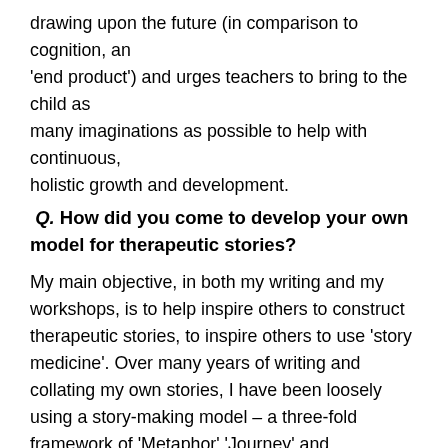drawing upon the future (in comparison to cognition, an 'end product') and urges teachers to bring to the child as many imaginations as possible to help with continuous, holistic growth and development.
Q. How did you come to develop your own model for therapeutic stories?
My main objective, in both my writing and my workshops, is to help inspire others to construct therapeutic stories, to inspire others to use 'story medicine'. Over many years of writing and collating my own stories, I have been loosely using a story-making model – a three-fold framework of 'Metaphor','Journey' and 'Resolution' – as a guide in creating therapeutic stories. This model has slowly developed through 'work in practice', and is still re-shaping itself. Every time I run a workshop (whether in my own country or internationally) my understanding of this subject grows and evolves, and my enthusiasm for therapeutic story writing is re-kindled.
An attempt at a definition of 'therapeutic story' and a summary of my three-fold framework is included below